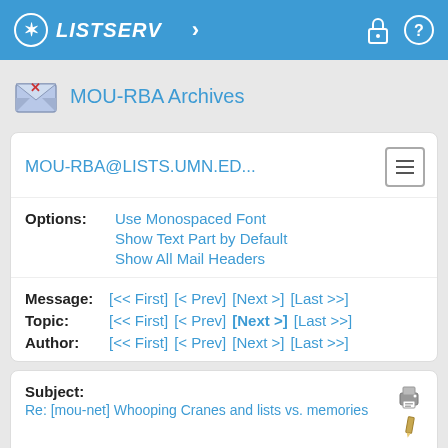LISTSERV
MOU-RBA Archives
MOU-RBA@LISTS.UMN.ED...
Options: Use Monospaced Font | Show Text Part by Default | Show All Mail Headers
Message: [<< First] [< Prev] [Next >] [Last >>]
Topic: [<< First] [< Prev] [Next >] [Last >>]
Author: [<< First] [< Prev] [Next >] [Last >>]
Subject: Re: [mou-net] Whooping Cranes and lists vs. memories
From: Larry Sirvio <[log in to unmask]>
Reply To: